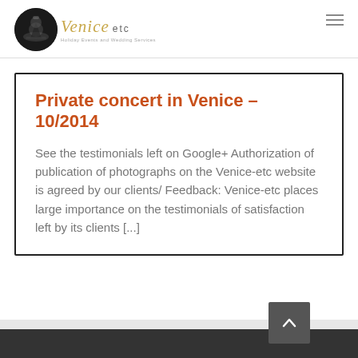[Figure (logo): Venice etc logo with circular black and white gondolier photo and cursive gold Venice text with 'etc' in grey and tagline 'Holiday Events and Wedding services']
Private concert in Venice – 10/2014
See the testimonials left on Google+ Authorization of publication of photographs on the Venice-etc website is agreed by our clients/ Feedback: Venice-etc places large importance on the testimonials of satisfaction left by its clients [...]